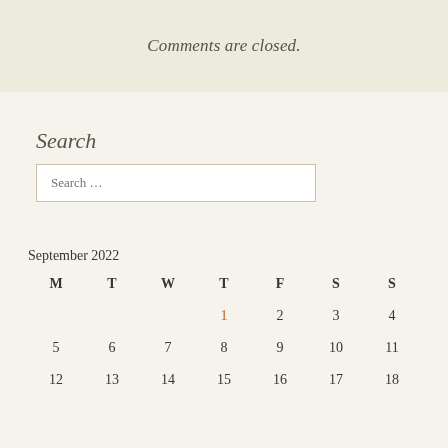Comments are closed.
Search
Search …
| M | T | W | T | F | S | S |
| --- | --- | --- | --- | --- | --- | --- |
|  |  |  | 1 | 2 | 3 | 4 |
| 5 | 6 | 7 | 8 | 9 | 10 | 11 |
| 12 | 13 | 14 | 15 | 16 | 17 | 18 |